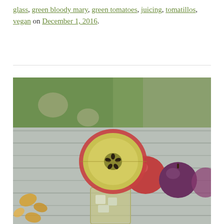glass, green bloody mary, green tomatoes, juicing, tomatillos, vegan on December 1, 2016.
[Figure (photo): Outdoor photograph of a drink glass garnished with a cross-section apple slice perched on the rim, with ice visible inside the glass. The background shows a weathered wooden surface with whole apples (red and purple) and autumn leaves, with green grass blurred in the background.]